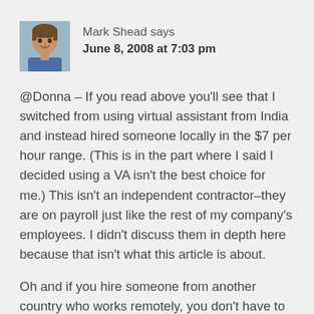[Figure (photo): Avatar/profile photo of Mark Shead, a man with short hair, smiling]
Mark Shead says
June 8, 2008 at 7:03 pm
@Donna – If you read above you'll see that I switched from using virtual assistant from India and instead hired someone locally in the $7 per hour range. (This is in the part where I said I decided using a VA isn't the best choice for me.) This isn't an independent contractor–they are on payroll just like the rest of my company's employees. I didn't discuss them in depth here because that isn't what this article is about.
Oh and if you hire someone from another country who works remotely, you don't have to worry about reporting income and paying part